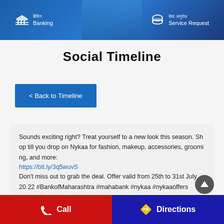[Figure (screenshot): Bank of Maharashtra app header banner showing Banking and Service Request navigation icons on a blue background with a person using a phone]
Social Timeline
< Back to Timeline
Sounds exciting right? Treat yourself to a new look this season. Shop till you drop on Nykaa for fashion, makeup, accessories, grooming, and more:
https://bit.ly/3q5wuvS
Don't miss out to grab the deal. Offer valid from 25th to 31st July 2022 #BankofMaharashtra #mahabank #nykaa #nykaaoffers #offer #RuPay #RuPaycard #conatctless #payments #cards #rewards #onlinepayment #Nykaabeauty
#BankofMaharashtra
Call   Directions